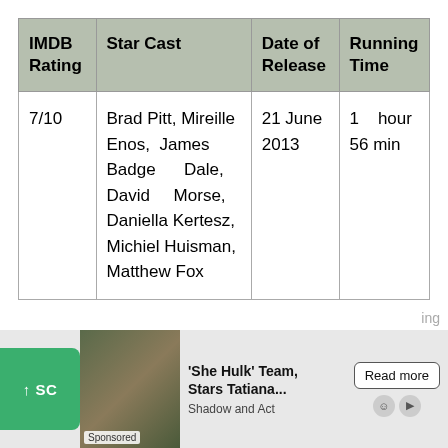| IMDB Rating | Star Cast | Date of Release | Running Time |
| --- | --- | --- | --- |
| 7/10 | Brad Pitt, Mireille Enos, James Badge Dale, David Morse, Daniella Kertesz, Michiel Huisman, Matthew Fox | 21 June 2013 | 1 hour 56 min |
41. Dabbe: Curse of the Jinn
[Figure (screenshot): Advertisement banner at bottom of page showing a sponsored article about 'She Hulk' Team, Stars Tatiana... from Shadow and Act, with a Read more button.]